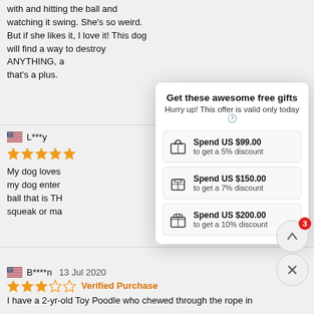with and hitting the ball and watching it swing. She's so weird. But if she likes it, I love it! This dog will find a way to destroy ANYTHING, a... that's a plus.
L***y
My dog loves... my dog enter... ball that is TH... squeak or ma...
Get these awesome free gifts
Hurry up! This offer is valid only today 🕑
Spend US $99.00 to get a 5% discount
Spend US $150.00 to get a 7% discount
Spend US $200.00 to get a 10% discount
B****n  13 Jul 2020
Verified Purchase
I have a 2-yr-old Toy Poodle who chewed through the rope in...